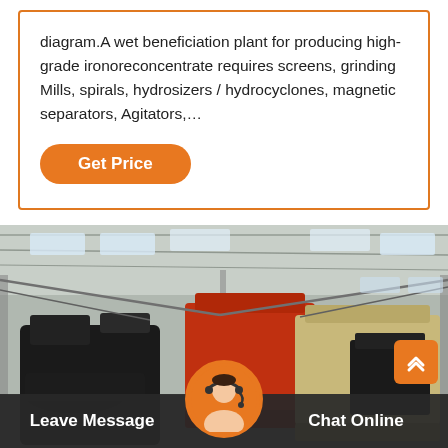diagram.A wet beneficiation plant for producing high-grade ironoreconcentrate requires screens, grinding Mills, spirals, hydrosizers / hydrocyclones, magnetic separators, Agitators,…
Get Price
[Figure (photo): Industrial factory floor showing large mining/beneficiation machinery including black crushers and orange/beige processing equipment inside a large warehouse with skylights.]
Leave Message
Chat Online